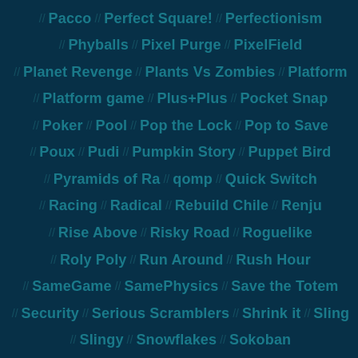Pacco // Perfect Square! // Perfectionism
// Phyballs // Pixel Purge // PixelField
// Planet Revenge // Plants Vs Zombies // Platform
// Platform game // Plus+Plus // Pocket Snap
// Poker // Pool // Pop the Lock // Pop to Save
// Poux // Pudi // Pumpkin Story // Puppet Bird
// Pyramids of Ra // qomp // Quick Switch
// Racing // Radical // Rebuild Chile // Renju
// Rise Above // Risky Road // Roguelike
// Roly Poly // Run Around // Rush Hour
// SameGame // SamePhysics // Save the Totem
// Security // Serious Scramblers // Shrink it // Sling
// Slingy // Snowflakes // Sokoban